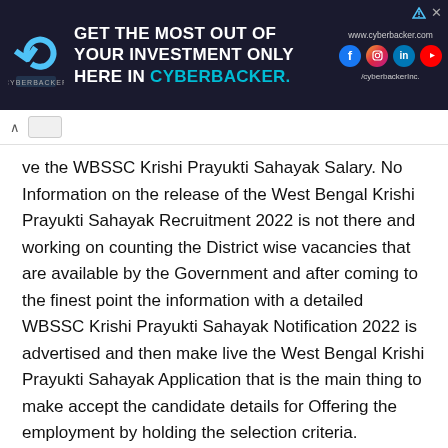[Figure (other): Cyberbacker advertisement banner with logo, headline 'GET THE MOST OUT OF YOUR INVESTMENT ONLY HERE IN CYBERBACKER.' and social media icons]
ve the WBSSC Krishi Prayukti Sahayak Salary. No Information on the release of the West Bengal Krishi Prayukti Sahayak Recruitment 2022 is not there and working on counting the District wise vacancies that are available by the Government and after coming to the finest point the information with a detailed WBSSC Krishi Prayukti Sahayak Notification 2022 is advertised and then make live the West Bengal Krishi Prayukti Sahayak Application that is the main thing to make accept the candidate details for Offering the employment by holding the selection criteria.
WEST BENGAL STAFF SELECTION